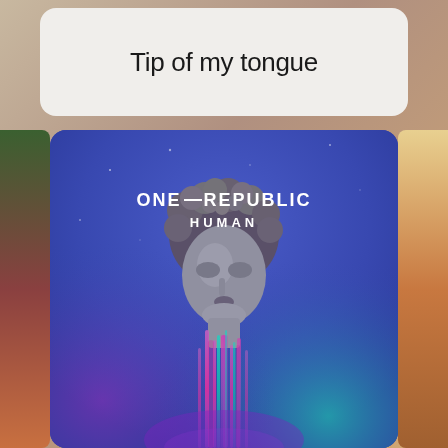Tip of my tongue
[Figure (illustration): OneRepublic 'Human' album cover artwork showing a classical marble bust/statue head with melting glitch-art drips in pink, magenta, teal colors against a deep blue to teal gradient background. Text reads 'ONE=REPUBLIC HUMAN' in white letters above the statue.]